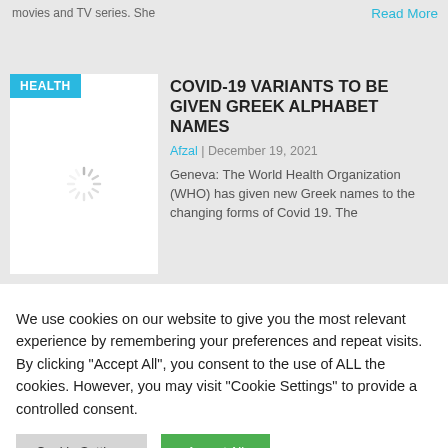movies and TV series. She
Read More
[Figure (other): Loading spinner image placeholder with HEALTH badge overlay]
COVID-19 VARIANTS TO BE GIVEN GREEK ALPHABET NAMES
Afzal  |  December 19, 2021
Geneva: The World Health Organization (WHO) has given new Greek names to the changing forms of Covid 19. The
We use cookies on our website to give you the most relevant experience by remembering your preferences and repeat visits. By clicking "Accept All", you consent to the use of ALL the cookies. However, you may visit "Cookie Settings" to provide a controlled consent.
Cookie Settings
Accept All